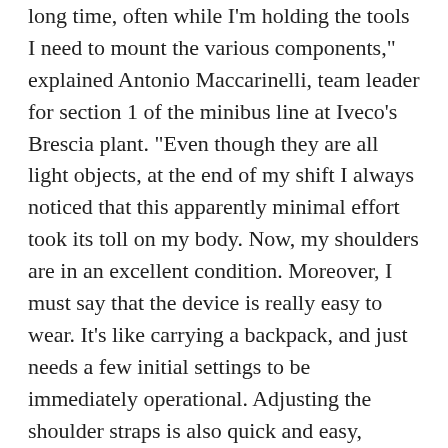long time, often while I'm holding the tools I need to mount the various components," explained Antonio Maccarinelli, team leader for section 1 of the minibus line at Iveco's Brescia plant. "Even though they are all light objects, at the end of my shift I always noticed that this apparently minimal effort took its toll on my body. Now, my shoulders are in an excellent condition. Moreover, I must say that the device is really easy to wear. It’s like carrying a backpack, and just needs a few initial settings to be immediately operational. Adjusting the shoulder straps is also quick and easy, which is really important, because I share Mate with other operators. Each of us has a slightly different build, but we can easily adapt it and feel comfortable.”